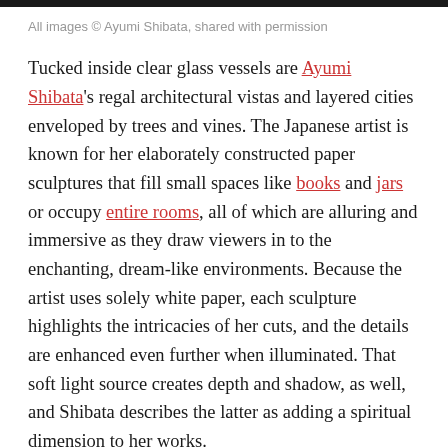All images © Ayumi Shibata, shared with permission
Tucked inside clear glass vessels are Ayumi Shibata's regal architectural vistas and layered cities enveloped by trees and vines. The Japanese artist is known for her elaborately constructed paper sculptures that fill small spaces like books and jars or occupy entire rooms, all of which are alluring and immersive as they draw viewers in to the enchanting, dream-like environments. Because the artist uses solely white paper, each sculpture highlights the intricacies of her cuts, and the details are enhanced even further when illuminated. That soft light source creates depth and shadow, as well, and Shibata describes the latter as adding a spiritual dimension to her works.
The artist recently finished two large commissions, one to accompany singer Ryoko Moriyama on stage and another for the KITTE shopping mall next to Tokyo